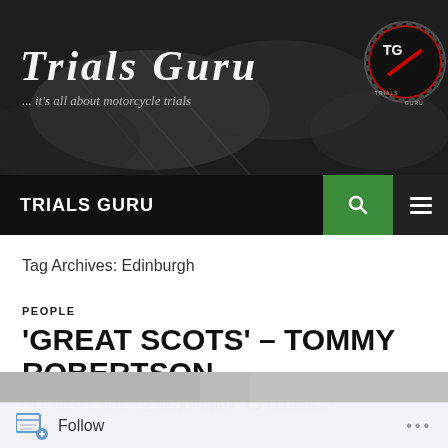[Figure (photo): Trials Guru website header banner with motorcycle imagery, site title 'Trials Guru' in italic font, subtitle 'it's all about motorcycle trials', and a circular logo with TG initials on the right]
TRIALS GURU
Tag Archives: Edinburgh
PEOPLE
'GREAT SCOTS' – TOMMY ROBERTSON
MARCH 1, 2015  BIGJOHN2014  1 COMMENT